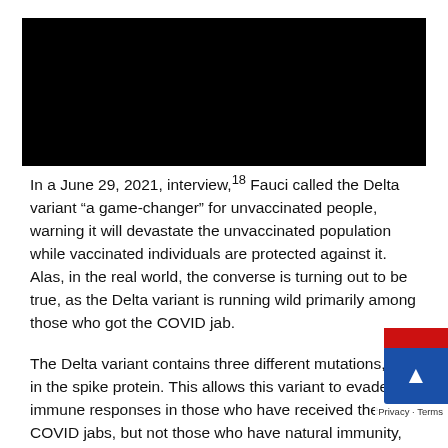[Figure (photo): Black rectangular image at top of page, content not visible]
In a June 29, 2021, interview,18 Fauci called the Delta variant “a game-changer” for unvaccinated people, warning it will devastate the unvaccinated population while vaccinated individuals are protected against it. Alas, in the real world, the converse is turning out to be true, as the Delta variant is running wild primarily among those who got the COVID jab.
The Delta variant contains three different mutations, all in the spike protein. This allows this variant to evade the immune responses in those who have received the COVID jabs, but not those who have natural immunity, which is much broader.
In a June 30, 2021, appearance on Fox News (video abo… epidemiologist and cardiologist Dr. Peter McCullough p… out that “It is very clear from the U.K. Technical Briefing— that